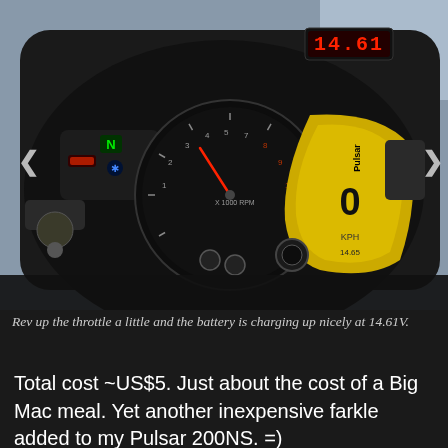[Figure (photo): Close-up photo of a motorcycle instrument cluster/dashboard showing a tachometer, speedometer showing 0, gear indicator showing N (neutral), and a red LED digital voltmeter display reading 14.61V. The cluster has yellow/amber backlighting on the right side and various indicator lights.]
Rev up the throttle a little and the battery is charging up nicely at 14.61V.
Total cost ~US$5. Just about the cost of a Big Mac meal. Yet another inexpensive farkle added to my Pulsar 200NS. =)